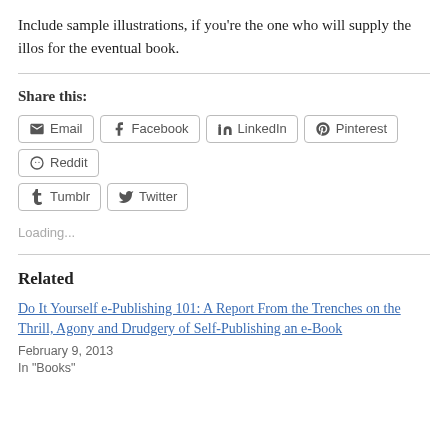Include sample illustrations, if you're the one who will supply the illos for the eventual book.
Share this:
[Figure (other): Social sharing buttons: Email, Facebook, LinkedIn, Pinterest, Reddit, Tumblr, Twitter]
Loading...
Related
Do It Yourself e-Publishing 101: A Report From the Trenches on the Thrill, Agony and Drudgery of Self-Publishing an e-Book
February 9, 2013
In "Books"